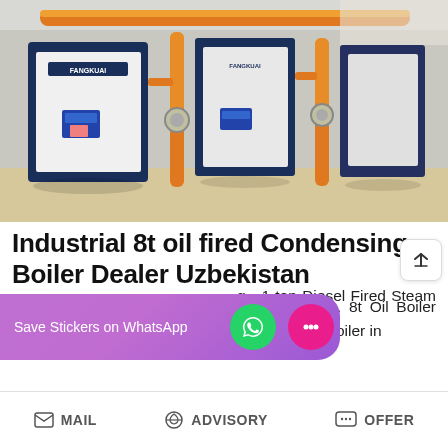[Figure (photo): Industrial boiler room with multiple large blue and white FANGKUAI branded condensing boilers, connected by orange/yellow gas pipes and fittings, inside a factory/plant setting.]
Industrial 8t oil fired Condensing Boiler Dealer Uzbekistan
8t Oil Boiler Plant Dealer Industrial Lithuania. 8t Oil Boiler Plant Dealer Industrial Lithuania. light oil fired boiler in … g - 1 ton Diesel Fired Steam 100kw … 23 gas condensing and 3 Pass h…
MAIL   ADVISORY   OFFER